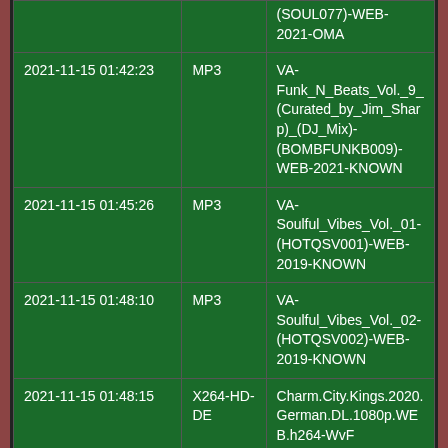| Date | Type | Name |
| --- | --- | --- |
|  |  | (SOUL077)-WEB-2021-OMA |
| 2021-11-15 01:42:23 | MP3 | VA-Funk_N_Beats_Vol._9_(Curated_by_Jim_Sharp)_(DJ_Mix)-(BOMBFUNKB009)-WEB-2021-KNOWN |
| 2021-11-15 01:45:26 | MP3 | VA-Soulful_Vibes_Vol._01-(HOTQSV001)-WEB-2019-KNOWN |
| 2021-11-15 01:48:10 | MP3 | VA-Soulful_Vibes_Vol._02-(HOTQSV002)-WEB-2019-KNOWN |
| 2021-11-15 01:48:15 | X264-HD-DE | Charm.City.Kings.2020.German.DL.1080p.WEB.h264-WvF |
| 2021-11-15 01:49:13 | XXX | FilthyMassage.21.10.1... |